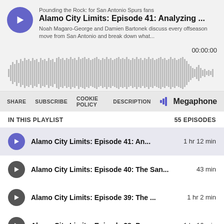Pounding the Rock: for San Antonio Spurs fans
Alamo City Limits: Episode 41: Analyzing ...
Noah Magaro-George and Damien Bartonek discuss every offseason move from San Antonio and break down what...
00:00:00
[Figure (other): Audio waveform visualization showing sound amplitude over time]
SHARE  SUBSCRIBE  COOKIE POLICY  DESCRIPTION  Megaphone
IN THIS PLAYLIST
55 EPISODES
Alamo City Limits: Episode 41: An...  1 hr 12 min
Alamo City Limits: Episode 40: The San...  43 min
Alamo City Limits: Episode 39: The ...  1 hr 2 min
Alamo City Limits: Episode 38: Pou...1 hr 16 min
Alamo City Limits: Episode 37: Jalen H...  48 min